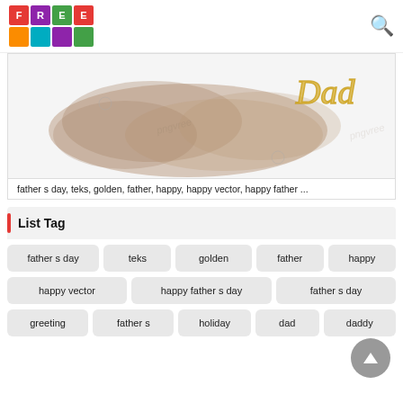FREE (logo with colorful grid) + search icon
[Figure (photo): Father's day image with watercolor brown cloud and golden cursive text on light background. Watermark text visible.]
father s day, teks, golden, father, happy, happy vector, happy father ...
List Tag
father s day
teks
golden
father
happy
happy vector
happy father s day
father s day
greeting
father s
holiday
dad
daddy